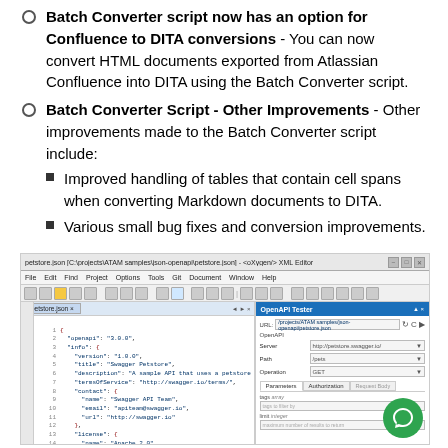Batch Converter script now has an option for Confluence to DITA conversions - You can now convert HTML documents exported from Atlassian Confluence into DITA using the Batch Converter script.
Batch Converter Script - Other Improvements - Other improvements made to the Batch Converter script include:
Improved handling of tables that contain cell spans when converting Markdown documents to DITA.
Various small bug fixes and conversion improvements.
[Figure (screenshot): Screenshot of an XML editor (oXygen) showing a petstore.json file open with JSON code visible, and a side panel showing an OpenAPI Tester interface with URL, Server, Path, Operation fields and Parameters/Authorization tabs. A green chat bubble icon is visible in the bottom-right corner.]